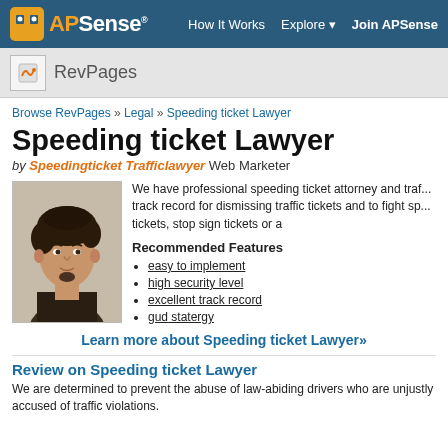APSense — How It Works  Explore  Join APSense
RevPages
Browse RevPages » Legal » Speeding ticket Lawyer
Speeding ticket Lawyer
by Speedingticket Trafficlawyer Web Marketer
[Figure (photo): Headshot photo of a young man with dark hair]
We have professional speeding ticket attorney and traffic lawyer with a proven track record for dismissing traffic tickets and to fight speeding tickets, stop sign tickets or a
Recommended Features
easy to implement
high security level
excellent track record
gud statergy
Learn more about Speeding ticket Lawyer»
Review on Speeding ticket Lawyer
We are determined to prevent the abuse of law-abiding drivers who are unjustly accused of traffic violations.